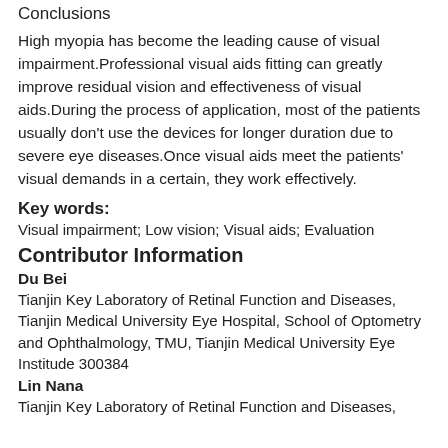Conclusions
High myopia has become the leading cause of visual impairment.Professional visual aids fitting can greatly improve residual vision and effectiveness of visual aids.During the process of application, most of the patients usually don't use the devices for longer duration due to severe eye diseases.Once visual aids meet the patients' visual demands in a certain, they work effectively.
Key words:
Visual impairment; Low vision; Visual aids; Evaluation
Contributor Information
Du Bei
Tianjin Key Laboratory of Retinal Function and Diseases, Tianjin Medical University Eye Hospital, School of Optometry and Ophthalmology, TMU, Tianjin Medical University Eye Institude 300384
Lin Nana
Tianjin Key Laboratory of Retinal Function and Diseases,